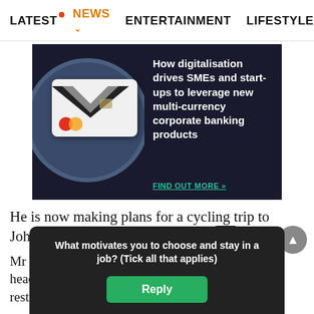LATEST  NEWS  ENTERTAINMENT  LIFESTYLE  EC>
[Figure (infographic): Advertisement banner for corporate banking product showing a hand holding a Mastercard credit card inside a dark blue circular frame on a dark background. Text reads: How digitalisation drives SMEs and start-ups to leverage new multi-currency corporate banking products. FIND OUT MORE »]
He is now making plans for a cycling trip to Johor with eight other cyclists in April.
Mr Lin i... king to head u... order restrict... sia are
What motivates you to choose and stay in a job? (Tick all that applies)